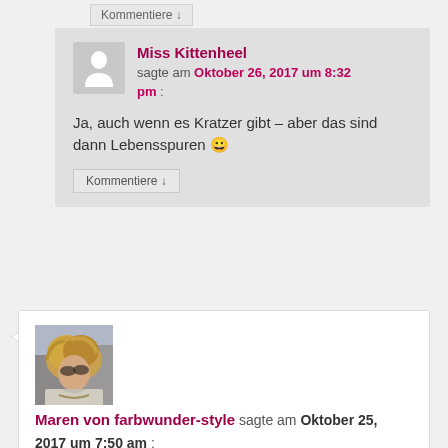Kommentiere ↓
Miss Kittenheel sagte am Oktober 26, 2017 um 8:32 pm :
Ja, auch wenn es Kratzer gibt – aber das sind dann Lebensspuren 😀
Kommentiere ↓
[Figure (photo): Profile photo of Maren von farbwunder-style, a woman with blonde wavy hair outdoors]
Maren von farbwunder-style sagte am Oktober 25, 2017 um 7:50 am :
Obwohl die Stücke echt schön sind und auch gut